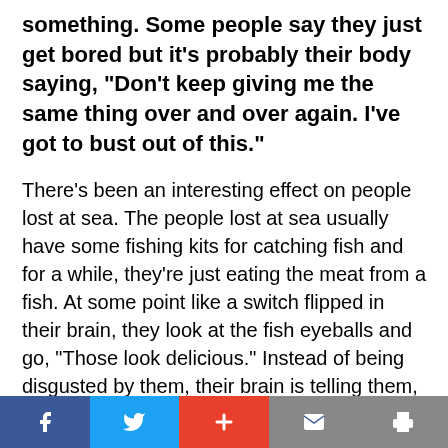something. Some people say they just get bored but it’s probably their body saying, “Don’t keep giving me the same thing over and over again. I’ve got to bust out of this.”
There’s been an interesting effect on people lost at sea. The people lost at sea usually have some fishing kits for catching fish and for a while, they’re just eating the meat from a fish. At some point like a switch flipped in their brain, they look at the fish eyeballs and go, “Those look delicious.” Instead of being disgusted by them, their brain is telling them, “That looks awesome. You should eat that.”
Social share bar: Facebook, Twitter, Plus, Mail, Print